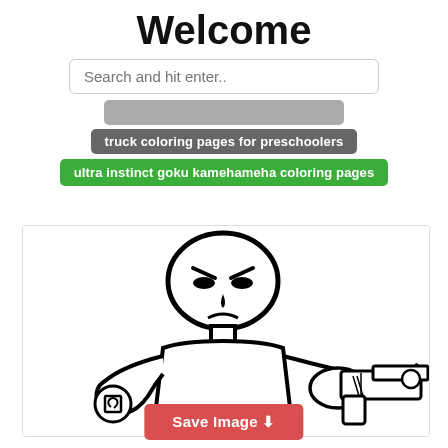Welcome
Search and hit enter..
truck coloring pages for preschoolers
ultra instinct goku kamehameha coloring pages
[Figure (illustration): Black and white line drawing of a stylized cartoon figure with an angry expression holding a handgun pointed to the right, with a badge or emblem visible on the left hand, resembling a secret agent or spy character coloring page.]
Save Image